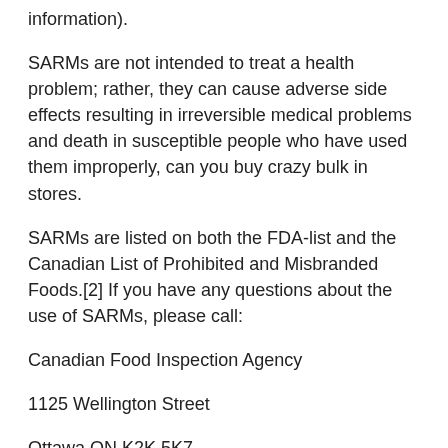information).
SARMs are not intended to treat a health problem; rather, they can cause adverse side effects resulting in irreversible medical problems and death in susceptible people who have used them improperly, can you buy crazy bulk in stores.
SARMs are listed on both the FDA-list and the Canadian List of Prohibited and Misbranded Foods.[2] If you have any questions about the use of SARMs, please call:
Canadian Food Inspection Agency
1125 Wellington Street
Ottawa ON K2K 5K7